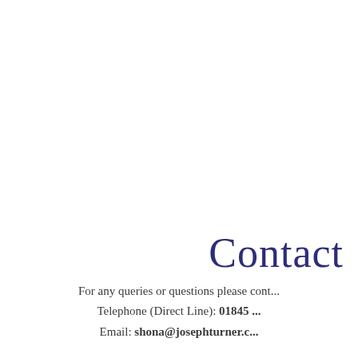Contact
For any queries or questions please cont... Telephone (Direct Line): 01845 ... Email: shona@josephturner.c...